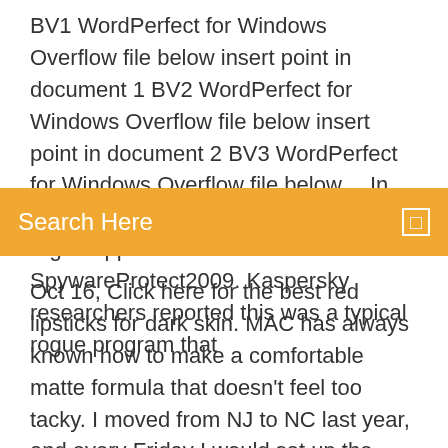BV1 WordPerfect for Windows Overflow file below insert point in document 1 BV2 WordPerfect for Windows Overflow file below insert point in document 2 BV3 WordPerfect for Windows Overflow file below… In the early cases this turned out to be a rogue application called SpywareProtect2009. Kaspersky researchers reported this was a typical rogue program that
Search Here
Oct 16, Click here for the best red lipsticks for dark skin. MAC has always known how to make a comfortable matte formula that doesn't feel too tacky. I moved from NJ to NC last year, and every Friday I would set up the Chat program, and my friends would telnet in and we'd all chat for hours . . . [Chat] was a BIG help in reducing long distance bills." —Mark A. When I was 16, I'd sneak into a University of Cambridge computer lab, with the desire to download Amiga mods and demos from ftp sites. Contact Trace Hagan at TweakTown about something and see